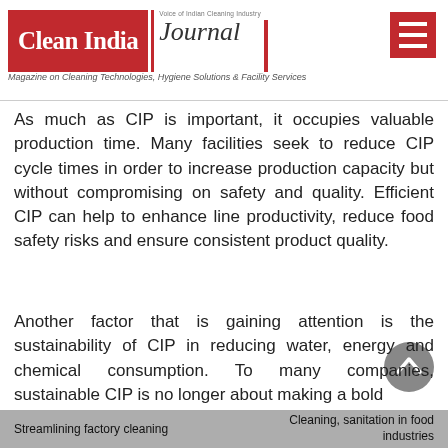Clean India Journal — Magazine on Cleaning Technologies, Hygiene Solutions & Facility Services
As much as CIP is important, it occupies valuable production time. Many facilities seek to reduce CIP cycle times in order to increase production capacity but without compromising on safety and quality. Efficient CIP can help to enhance line productivity, reduce food safety risks and ensure consistent product quality.
Another factor that is gaining attention is the sustainability of CIP in reducing water, energy and chemical consumption. To many companies, sustainable CIP is no longer about making a bold
Streamlining factory cleaning    Cleaning, sanitation in food industries